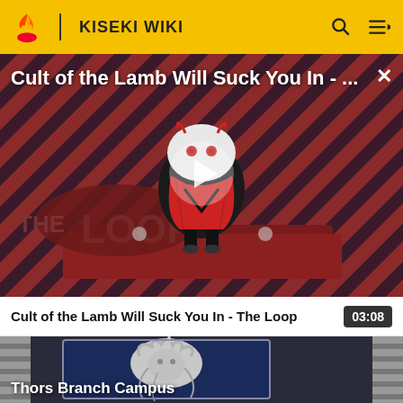KISEKI WIKI
[Figure (screenshot): Video player showing 'Cult of the Lamb Will Suck You In - ...' with diagonal red and dark striped background, a cartoon lamb character in the center, and THE LOOP text at bottom left. A play button triangle overlay is visible.]
Cult of the Lamb Will Suck You In - The Loop
03:08
[Figure (screenshot): Thumbnail image showing an anime-style stone carving or relief of a lion/unicorn creature (Thors Branch Campus) with ornate decorative border, gray tones, against dark background.]
Thors Branch Campus